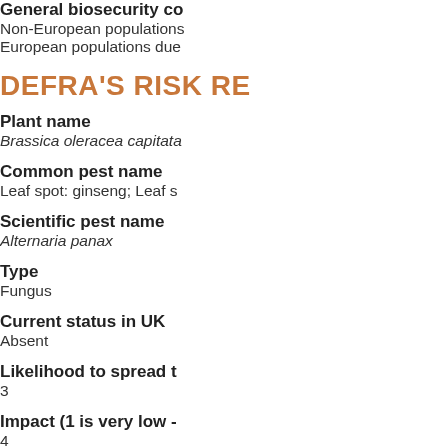General biosecurity co
Non-European populations due to European populations due
DEFRA'S RISK RE
Plant name
Brassica oleracea capitata
Common pest name
Leaf spot: ginseng; Leaf s
Scientific pest name
Alternaria panax
Type
Fungus
Current status in UK
Absent
Likelihood to spread t
3
Impact (1 is very low -
4
General biosecurity co
A leaf spot disease: some